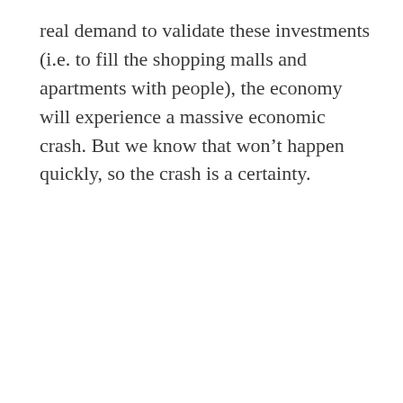real demand to validate these investments (i.e. to fill the shopping malls and apartments with people), the economy will experience a massive economic crash. But we know that won't happen quickly, so the crash is a certainty.